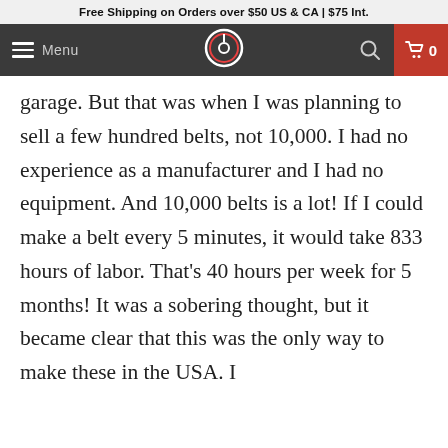Free Shipping on Orders over $50 US & CA | $75 Int.
garage. But that was when I was planning to sell a few hundred belts, not 10,000. I had no experience as a manufacturer and I had no equipment. And 10,000 belts is a lot! If I could make a belt every 5 minutes, it would take 833 hours of labor. That’s 40 hours per week for 5 months! It was a sobering thought, but it became clear that this was the only way to make these in the USA. I